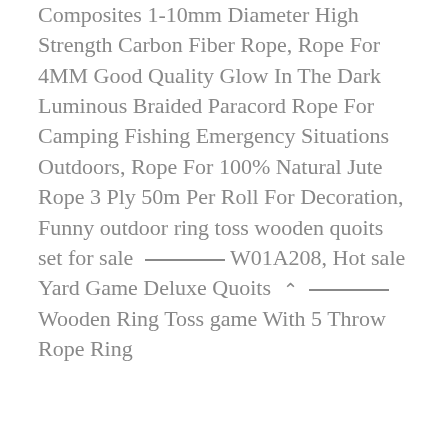Composites 1-10mm Diameter High Strength Carbon Fiber Rope, Rope For 4MM Good Quality Glow In The Dark Luminous Braided Paracord Rope For Camping Fishing Emergency Situations Outdoors, Rope For 100% Natural Jute Rope 3 Ply 50m Per Roll For Decoration, Funny outdoor ring toss wooden quoits set for sale W01A208, Hot sale Yard Game Deluxe Quoits Wooden Ring Toss game With 5 Throw Rope Ring